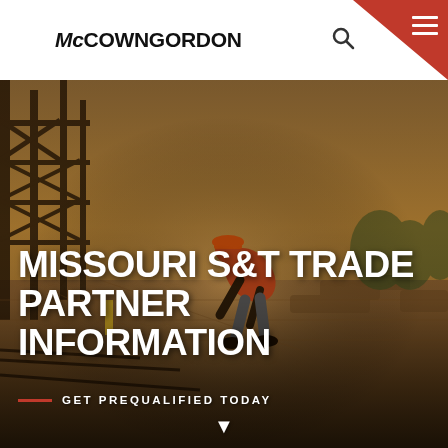McCOWN GORDON
[Figure (photo): Construction worker in orange hard hat and vest bending over at a construction site, with steel structure on the left and a dusty outdoor work site in the background, warm sepia/golden tones]
MISSOURI S&T TRADE PARTNER INFORMATION
GET PREQUALIFIED TODAY